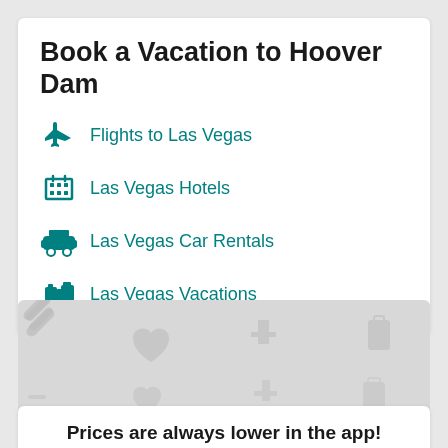Book a Vacation to Hoover Dam
Flights to Las Vegas
Las Vegas Hotels
Las Vegas Car Rentals
Las Vegas Vacations
[Figure (illustration): Decorative background pattern with light gray travel icons including planes, hearts, stars, smiley faces, luggage, and map markers on a light gray background]
Prices are always lower in the app!